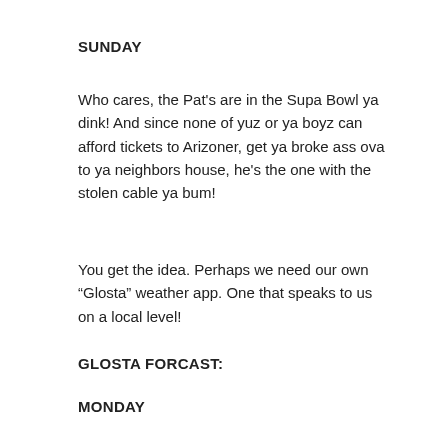SUNDAY
Who cares, the Pat's are in the Supa Bowl ya dink! And since none of yuz or ya boyz can afford tickets to Arizoner, get ya broke ass ova to ya neighbors house, he's the one with the stolen cable ya bum!
You get the idea. Perhaps we need our own “Glosta” weather app. One that speaks to us on a local level!
GLOSTA FORCAST:
MONDAY